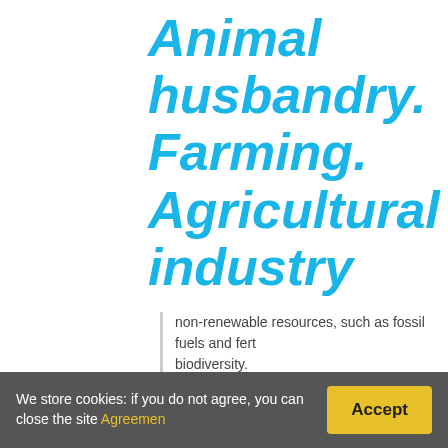Animal husbandry. Farming. Agricultural industry
non-renewable resources, such as fossil fuels and fert biodiversity.
What is difference between mixed cropping and mixed farming?
Mixed farming is where crops and animals are grown a cropping is where a farmer has different crops in the land.
We store cookies: if you do not agree, you can close the site Agreement